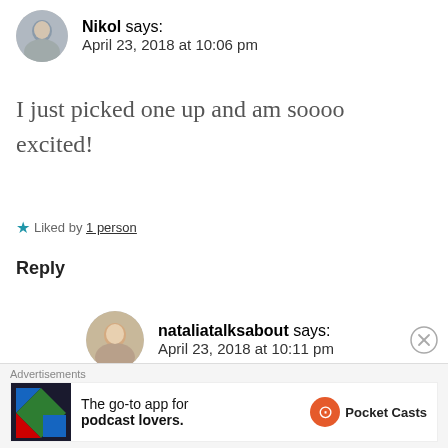Nikol says: April 23, 2018 at 10:06 pm
I just picked one up and am soooo excited!
★ Liked by 1 person
Reply
nataliatalksabout says: April 23, 2018 at 10:11 pm
Amazing let me know your thoughts and tag me in any posts
Advertisements
[Figure (screenshot): Pocket Casts advertisement: The go-to app for podcast lovers.]